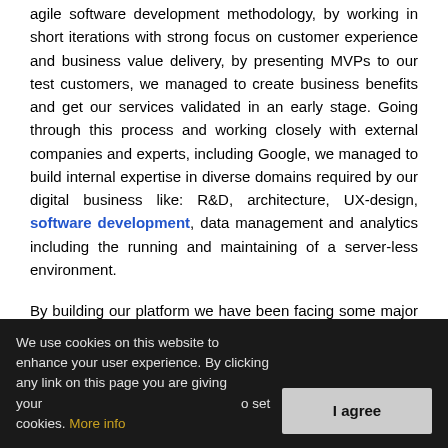agile software development methodology, by working in short iterations with strong focus on customer experience and business value delivery, by presenting MVPs to our test customers, we managed to create business benefits and get our services validated in an early stage. Going through this process and working closely with external companies and experts, including Google, we managed to build internal expertise in diverse domains required by our digital business like: R&D, architecture, UX-design, software development, data management and analytics including the running and maintaining of a server-less environment.
By building our platform we have been facing some major technical challenges like dealing with high volume and frequency of data, building the right edge analytics capability, combining batch and streaming analytics, and security and compliance. However, at the same time, we managed to
We use cookies on this website to enhance your user experience. By clicking any link on this page you are giving your [consent] to set cookies. More info